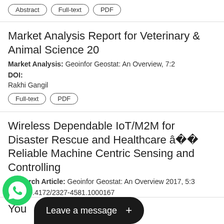Abstract   Full-text   PDF
Market Analysis Report for Veterinary & Animal Science 20
Market Analysis: Geoinfor Geostat: An Overview, 7:2
DOI:
Rakhi Gangil
Full-text   PDF
Wireless Dependable IoT/M2M for Disaster Rescue and Healthcare ââ Reliable Machine Centric Sensing and Controlling
Research Article: Geoinfor Geostat: An Overview 2017, 5:3
DOI: 10.4172/2327-4581.1000167
Masaki Noi, Satoshi Seimiya, Kouhei Harada, Takumi vashi, Graeme K Woodward and Ryuji Kohno
Abstract   Full-text   PDF
You